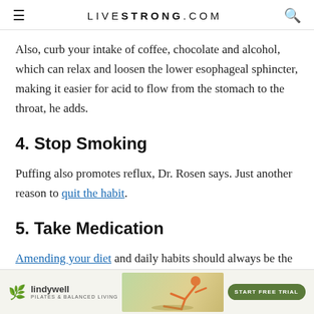LIVESTRONG.COM
Also, curb your intake of coffee, chocolate and alcohol, which can relax and loosen the lower esophageal sphincter, making it easier for acid to flow from the stomach to the throat, he adds.
4. Stop Smoking
Puffing also promotes reflux, Dr. Rosen says. Just another reason to quit the habit.
5. Take Medication
Amending your diet and daily habits should always be the fir[st step when you feel troubled —] to tre[at...]
[Figure (infographic): Lindywell Pilates & Balanced Living advertisement banner with logo, person doing pilates pose, and Start Free Trial button]